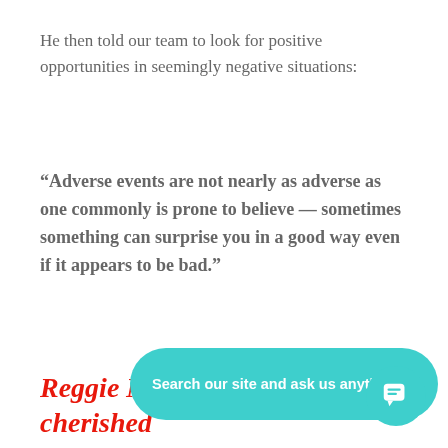He then told our team to look for positive opportunities in seemingly negative situations:
“Adverse events are not nearly as adverse as one commonly is prone to believe — sometimes something can surprise you in a good way even if it appears to be bad.”
Reggie Moore’s inspiration: a cherished friend
[Figure (other): Teal chat bubble UI overlay with text 'Search our site and ask us anything.' and a circular teal chat icon button in the bottom-right corner]